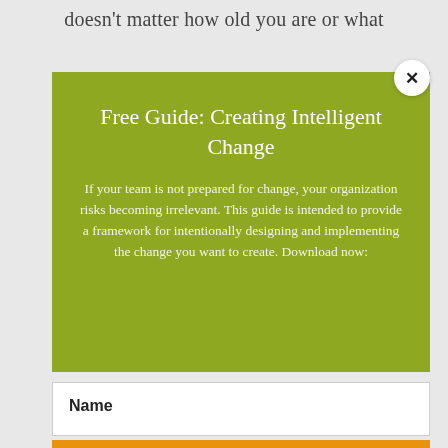doesn’t matter how old you are or what
Free Guide: Creating Intelligent Change
If your team is not prepared for change, your organization risks becoming irrelevant. This guide is intended to provide a framework for intentionally designing and implementing the change you want to create. Download now:
Name
Email